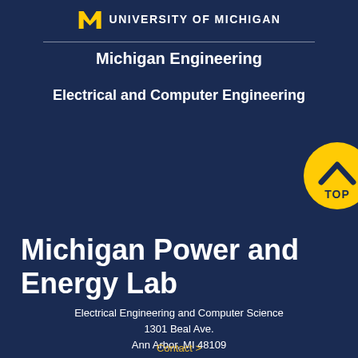[Figure (logo): University of Michigan block M logo in maize and blue, with 'UNIVERSITY OF MICHIGAN' text in white uppercase]
Michigan Engineering
Electrical and Computer Engineering
[Figure (illustration): Yellow circular TOP badge with upward chevron arrow and text TOP]
Michigan Power and Energy Lab
Electrical Engineering and Computer Science
1301 Beal Ave.
Ann Arbor, MI 48109
Contact >